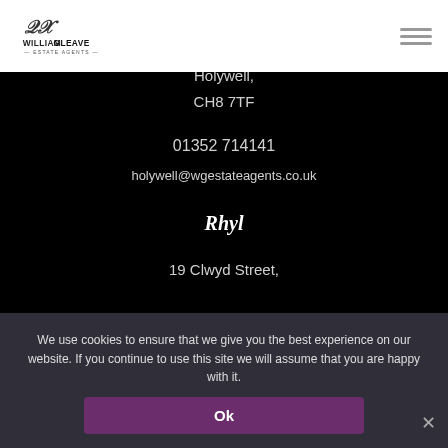[Figure (logo): William Gleave Estate Agents logo — stylised WG monogram above text WILLIAMGLEAVE — ESTATE AGENTS —]
Holywell,
CH8 7TF
01352 714141
holywell@wgestateagents.co.uk
Rhyl
19 Clwyd Street,
We use cookies to ensure that we give you the best experience on our website. If you continue to use this site we will assume that you are happy with it.